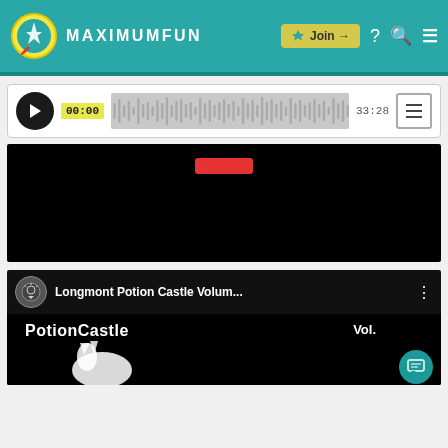MAXIMUMFUN
[Figure (screenshot): Audio player with play button, waveform, timestamps 00:00 and 33:28, and menu icon]
[Figure (screenshot): Black video embed area with red bar at top]
[Figure (screenshot): YouTube-style video thumbnail for Longmont Potion Castle Volum... showing PotionCastle text and logo, with chat bubble icon in corner]